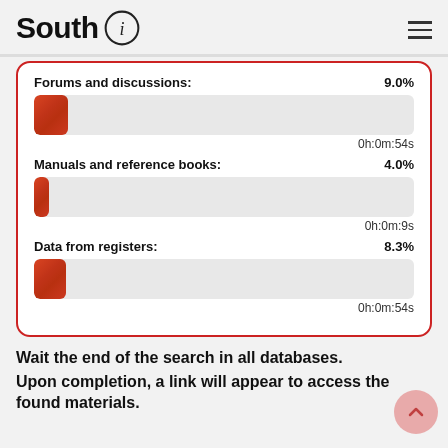South i
[Figure (bar-chart): Search progress]
Wait the end of the search in all databases.
Upon completion, a link will appear to access the found materials.